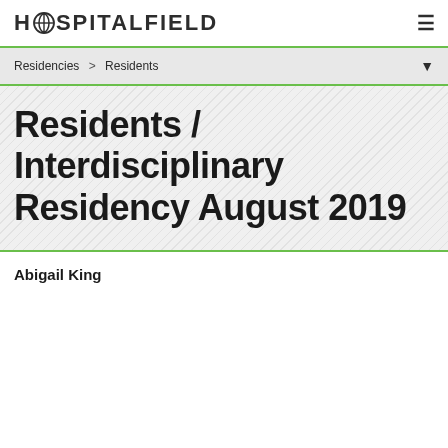HOSPITALFIELD
Residencies > Residents
Residents / Interdisciplinary Residency August 2019
Abigail King